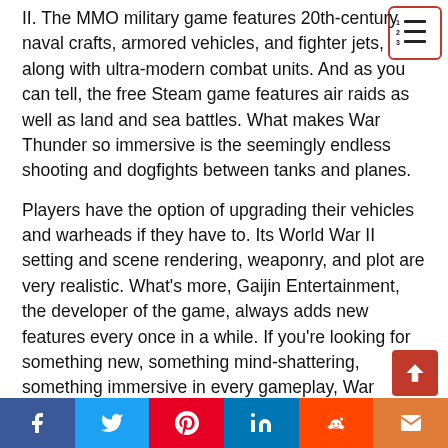II. The MMO military game features 20th-century naval crafts, armored vehicles, and fighter jets, along with ultra-modern combat units. And as you can tell, the free Steam game features air raids as well as land and sea battles. What makes War Thunder so immersive is the seemingly endless shooting and dogfights between tanks and planes.

Players have the option of upgrading their vehicles and warheads if they have to. Its World War II setting and scene rendering, weaponry, and plot are very realistic. What's more, Gaijin Entertainment, the developer of the game, always adds new features every once in a while. If you're looking for something new, something mind-shattering, something immersive in every gameplay, War Thunder is one of the best games on Steam.
[Figure (other): Table of contents icon in top-right corner — a red-bordered box containing numbered list lines icon]
[Figure (other): Scroll-to-top button — red square with upward arrow, bottom-right corner]
[Figure (other): Social sharing bar at bottom with Facebook (blue), Twitter (light blue), Pinterest (red), LinkedIn (dark blue), Reddit (orange-red), Email (orange) buttons with respective icons]